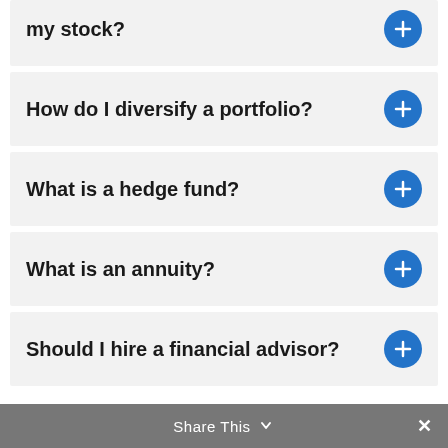How do I diversify out of my stock?
How do I diversify a portfolio?
What is a hedge fund?
What is an annuity?
Should I hire a financial advisor?
Share This ✕